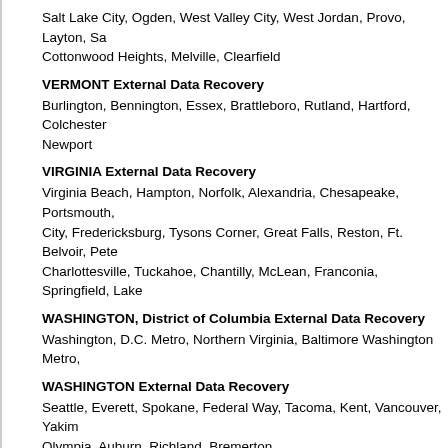Salt Lake City, Ogden, West Valley City, West Jordan, Provo, Layton, Sandy, Cottonwood Heights, Melville, Clearfield
VERMONT External Data Recovery
Burlington, Bennington, Essex, Brattleboro, Rutland, Hartford, Colchester, Newport
VIRGINIA External Data Recovery
Virginia Beach, Hampton, Norfolk, Alexandria, Chesapeake, Portsmouth, City, Fredericksburg, Tysons Corner, Great Falls, Reston, Ft. Belvoir, Petersburg, Charlottesville, Tuckahoe, Chantilly, McLean, Franconia, Springfield, Lake
WASHINGTON, District of Columbia External Data Recovery
Washington, D.C. Metro, Northern Virginia, Baltimore Washington Metro,
WASHINGTON External Data Recovery
Seattle, Everett, Spokane, Federal Way, Tacoma, Kent, Vancouver, Yakima, Olympia, Auburn, Richland, Bremerton
WEST VIRGINIA Raid Recovery
Charleston, Weirton, Huntington, Fairmont, Parkersburg, Beckley, Wheeling
WISCONSIN External Data Recovery